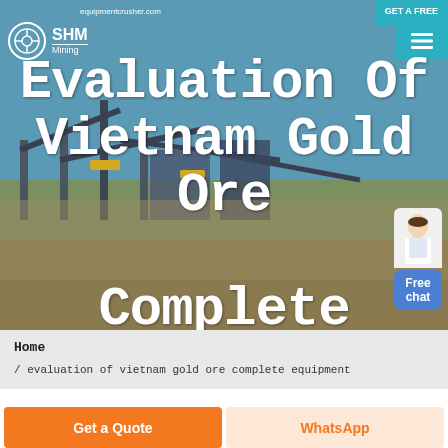[Figure (screenshot): Mining equipment processing plant hero image with conveyor belts and industrial machinery against a blue sky background]
Evaluation Of Vietnam Gold Ore Complete Equipment
Free chat
Home
/ evaluation of vietnam gold ore complete equipment
Get a Quote
WhatsApp